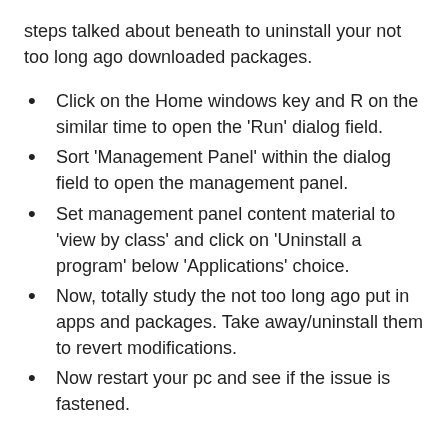steps talked about beneath to uninstall your not too long ago downloaded packages.
Click on the Home windows key and R on the similar time to open the ‘Run’ dialog field.
Sort ‘Management Panel’ within the dialog field to open the management panel.
Set management panel content material to ‘view by class’ and click on ‘Uninstall a program’ below ‘Applications’ choice.
Now, totally study the not too long ago put in apps and packages. Take away/uninstall them to revert modifications.
Now restart your pc and see if the issue is fastened.